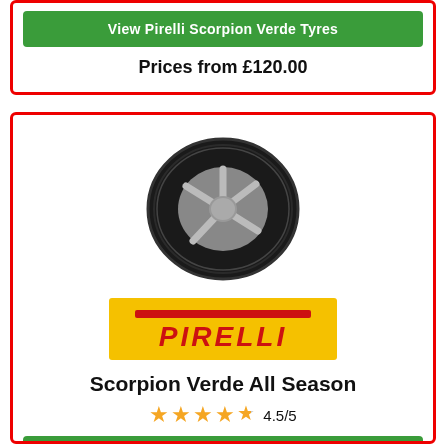View Pirelli Scorpion Verde Tyres
Prices from £120.00
[Figure (photo): Pirelli Scorpion Verde All Season tyre mounted on a silver alloy wheel, shown at an angle]
[Figure (logo): Pirelli logo in red text on yellow background]
Scorpion Verde All Season
4.5/5
View Pirelli Scorpion Verde All Season Tyres